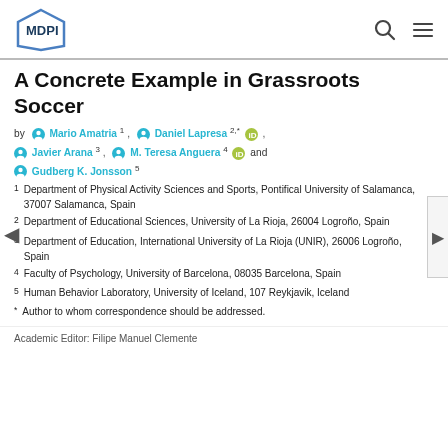MDPI
A Concrete Example in Grassroots Soccer
by Mario Amatria 1, Daniel Lapresa 2,* , Javier Arana 3, M. Teresa Anguera 4 and Gudberg K. Jonsson 5
1 Department of Physical Activity Sciences and Sports, Pontifical University of Salamanca, 37007 Salamanca, Spain
2 Department of Educational Sciences, University of La Rioja, 26004 Logroño, Spain
3 Department of Education, International University of La Rioja (UNIR), 26006 Logroño, Spain
4 Faculty of Psychology, University of Barcelona, 08035 Barcelona, Spain
5 Human Behavior Laboratory, University of Iceland, 107 Reykjavik, Iceland
* Author to whom correspondence should be addressed.
Academic Editor: Filipe Manuel Clemente